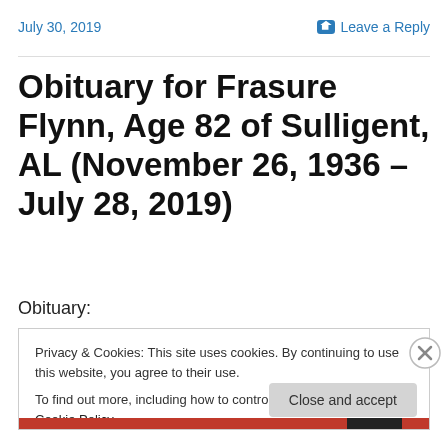July 30, 2019
Leave a Reply
Obituary for Frasure Flynn, Age 82 of Sulligent, AL (November 26, 1936 – July 28, 2019)
Obituary:
Privacy & Cookies: This site uses cookies. By continuing to use this website, you agree to their use.
To find out more, including how to control cookies, see here: Cookie Policy
Close and accept